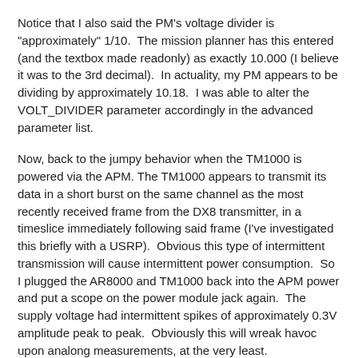Notice that I also said the PM's voltage divider is "approximately" 1/10.  The mission planner has this entered (and the textbox made readonly) as exactly 10.000 (I believe it was to the 3rd decimal).  In actuality, my PM appears to be dividing by approximately 10.18.  I was able to alter the VOLT_DIVIDER parameter accordingly in the advanced parameter list.
Now, back to the jumpy behavior when the TM1000 is powered via the APM. The TM1000 appears to transmit its data in a short burst on the same channel as the most recently received frame from the DX8 transmitter, in a timeslice immediately following said frame (I've investigated this briefly with a USRP).  Obvious this type of intermittent transmission will cause intermittent power consumption.  So I plugged the AR8000 and TM1000 back into the APM power and put a scope on the power module jack again.  The supply voltage had intermittent spikes of approximately 0.3V amplitude peak to peak.  Obviously this will wreak havoc upon analong measurements, at the very least.
My solution to the problem was simply to power the AR8000 and TM1000 from an ESC BEC rather than the APM.
However, I wanted to put forth some suggestions for the